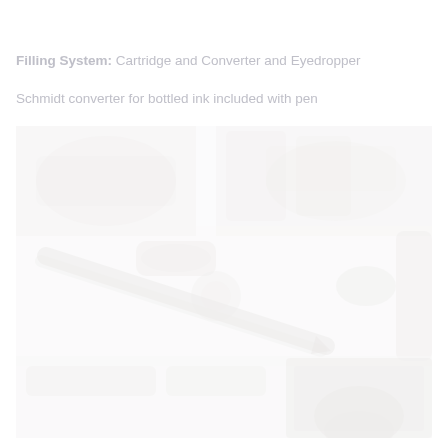Filling System: Cartridge and Converter and Eyedropper
Schmidt converter for bottled ink included with pen
[Figure (photo): Very washed-out/faded photo showing fountain pen filling system components including cartridges, converter, and eyedropper parts arranged together]